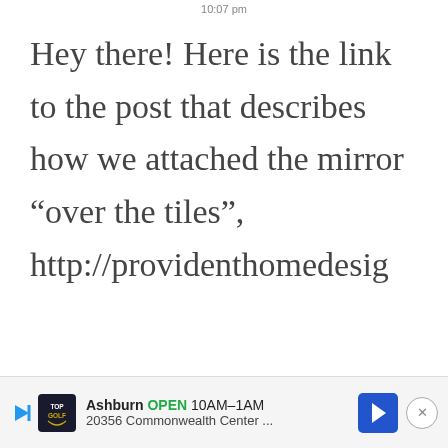10:07 pm
Hey there! Here is the link to the post that describes how we attached the mirror “over the tiles”, http://providenthomedesig
[Figure (infographic): Advertisement banner for TopGolf Ashburn: OPEN 10AM-1AM, 20356 Commonwealth Center ..., with play button, TopGolf logo, blue arrow navigation button, and close (X) button]